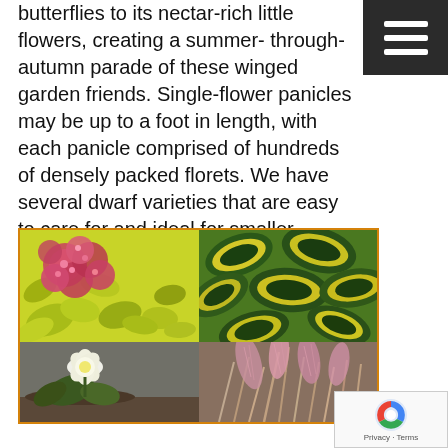butterflies to its nectar-rich little flowers, creating a summer- through-autumn parade of these winged garden friends. Single-flower panicles may be up to a foot in length, with each panicle comprised of hundreds of densely packed florets. We have several dwarf varieties that are easy to care for and ideal for smaller gardens.
[Figure (photo): A 2x2 grid of garden plant photos: top-left shows pink flowering shrub with yellow-green leaves (likely Spiraea), top-right shows variegated green and yellow leaves (likely Euonymus), bottom-left shows white flowers, bottom-right shows pink ornamental grass]